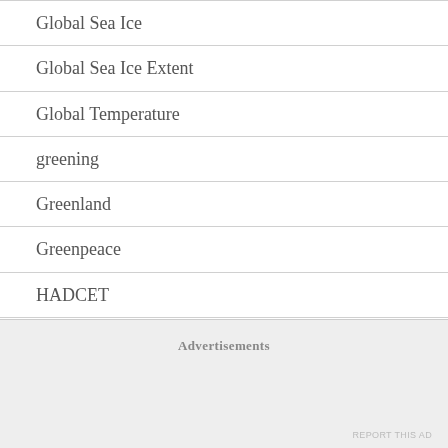Global Sea Ice
Global Sea Ice Extent
Global Temperature
greening
Greenland
Greenpeace
HADCET
HADCRUT
HADCRUT3
HADCRUT4
Advertisements